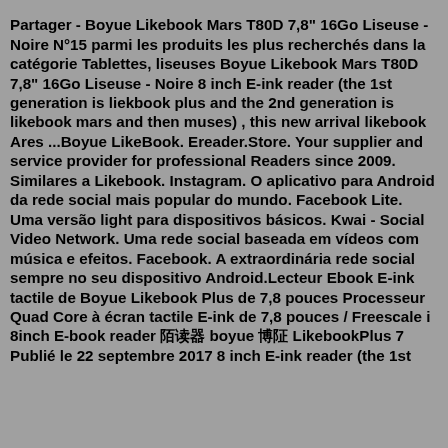Partager - Boyue Likebook Mars T80D 7,8" 16Go Liseuse - Noire N°15 parmi les produits les plus recherchés dans la catégorie Tablettes, liseuses Boyue Likebook Mars T80D 7,8" 16Go Liseuse - Noire 8 inch E-ink reader (the 1st generation is liekbook plus and the 2nd generation is likebook mars and then muses) , this new arrival likebook Ares ...Boyue LikeBook. Ereader.Store. Your supplier and service provider for professional Readers since 2009. Similares a Likebook. Instagram. O aplicativo para Android da rede social mais popular do mundo. Facebook Lite. Uma versão light para dispositivos básicos. Kwai - Social Video Network. Uma rede social baseada em vídeos com música e efeitos. Facebook. A extraordinária rede social sempre no seu dispositivo Android.Lecteur Ebook E-ink tactile de Boyue Likebook Plus de 7,8 pouces Processeur Quad Core à écran tactile E-ink de 7,8 pouces / Freescale i 8inch E-book reader 阅读器 boyue 博阅 LikebookPlus 7 Publié le 22 septembre 2017 8 inch E-ink reader (the 1st